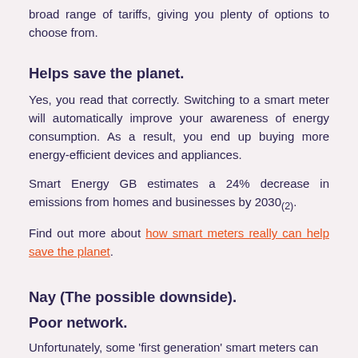broad range of tariffs, giving you plenty of options to choose from.
Helps save the planet.
Yes, you read that correctly. Switching to a smart meter will automatically improve your awareness of energy consumption. As a result, you end up buying more energy-efficient devices and appliances.
Smart Energy GB estimates a 24% decrease in emissions from homes and businesses by 2030(2).
Find out more about how smart meters really can help save the planet.
Nay (The possible downside).
Poor network.
Unfortunately, some 'first generation' smart meters can